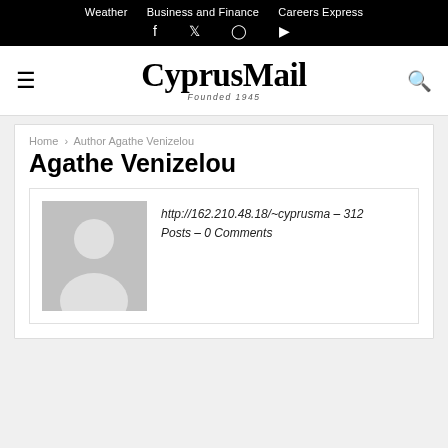Weather  Business and Finance  Careers Express
[Figure (logo): CyprusMail newspaper logo with 'Founded 1945' tagline, hamburger menu icon on left, search icon on right]
Home › Author Agathe Venizelou
Agathe Venizelou
[Figure (photo): Generic grey placeholder avatar/silhouette of a person]
http://162.210.48.18/~cyprusma - 312 Posts - 0 Comments